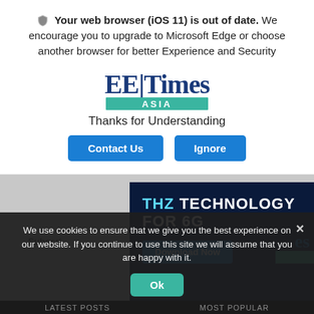🛡 Your web browser (iOS 11) is out of date. We encourage you to upgrade to Microsoft Edge or choose another browser for better Experience and Security
[Figure (logo): EE Times ASIA logo — EE|Times in large serif font, ASIA in white text on teal bar beneath]
Thanks for Understanding
Contact Us   Ignore
[Figure (screenshot): Partial background page showing dark blue ad banner with text 'THZ TECHNOLOGY FOR 6G' and a Download Now button, with a document thumbnail on the right]
Subscri
We use cookies to ensure that we give you the best experience on our website. If you continue to use this site we will assume that you are happy with it.
Ok
Latest Posts   Most Popular